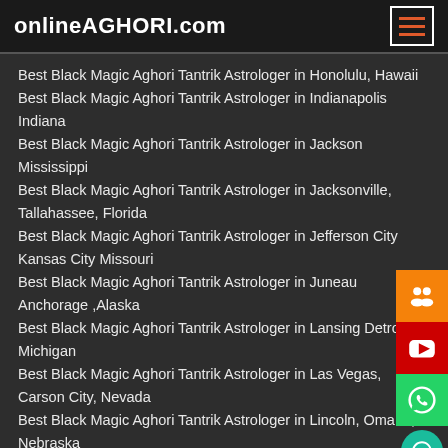onlineAGHORI.com
Best Black Magic Aghori Tantrik Astrologer in Honolulu, Hawaii
Best Black Magic Aghori Tantrik Astrologer in Indianapolis Indiana
Best Black Magic Aghori Tantrik Astrologer in Jackson Mississippi
Best Black Magic Aghori Tantrik Astrologer in Jacksonville, Tallahassee, Florida
Best Black Magic Aghori Tantrik Astrologer in Jefferson City Kansas City Missouri
Best Black Magic Aghori Tantrik Astrologer in Juneau Anchorage ,Alaska
Best Black Magic Aghori Tantrik Astrologer in Lansing Detroit Michigan
Best Black Magic Aghori Tantrik Astrologer in Las Vegas, Carson City, Nevada
Best Black Magic Aghori Tantrik Astrologer in Lincoln, Omaha, Nebraska
Best Black Magic Aghori Tantrik Astrologer in Little Rock,